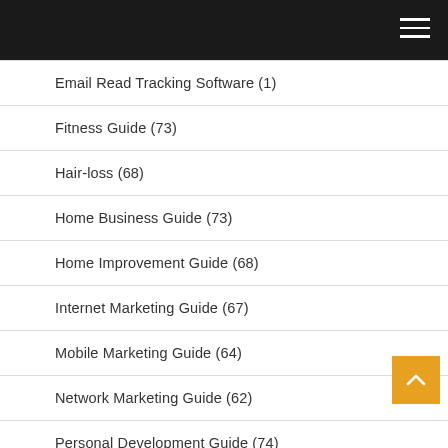Email Read Tracking Software (1)
Fitness Guide (73)
Hair-loss (68)
Home Business Guide (73)
Home Improvement Guide (68)
Internet Marketing Guide (67)
Mobile Marketing Guide (64)
Network Marketing Guide (62)
Personal Development Guide (74)
PrestaShop Documentation (123)